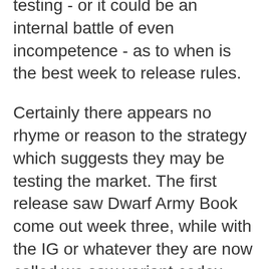testing - or it could be an internal battle of even incompetence - as to when is the best week to release rules.
Certainly there appears no rhyme or reason to the strategy which suggests they may be testing the market. The first release saw Dwarf Army Book come out week three, while with the IG or whatever they are now called we saw variant codex week one and main codex week four. Imperial Knights had rules released week two while Wood Elves got theirs week one. Finally 40k Orks have had to wait until we eh four.
I can only assume that GW is trying to determine whether the timing of rules release affect sales - either positively or negatively. I can see reasons for why you would go either first or last week but second and third week make little sense. The case for late army book/codex release is that it keeps models under wraps longer which seems to be GW current preferred option.
However out of all the releases mentioned above I believe the one that generated the most excitement (in my not unbiased opinion) was Wood Elves. Here people got to see